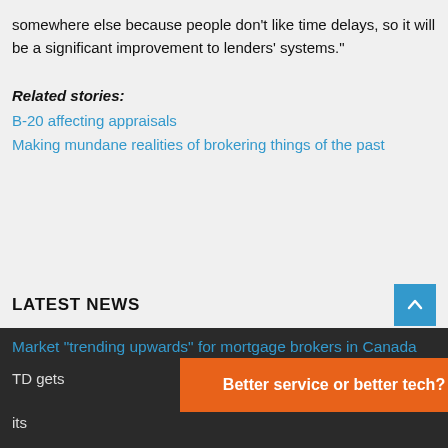somewhere else because people don't like time delays, so it will be a significant improvement to lenders' systems."
Related stories:
B-20 affecting appraisals
Making mundane realities of brokering things of the past
LATEST NEWS
Market "trending upwards" for mortgage brokers in Canada
TD gets...in its
[Figure (other): Orange advertisement banner reading 'Better service or better tech?' with a close (X) button]